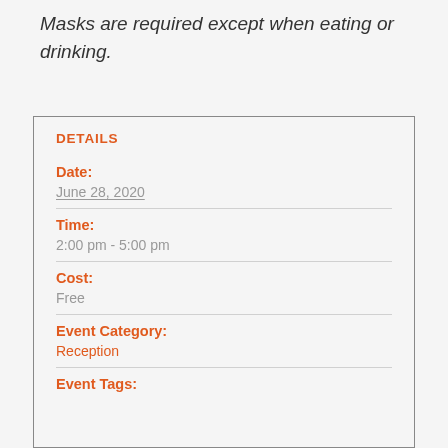Masks are required except when eating or drinking.
DETAILS
Date:
June 28, 2020
Time:
2:00 pm - 5:00 pm
Cost:
Free
Event Category:
Reception
Event Tags: